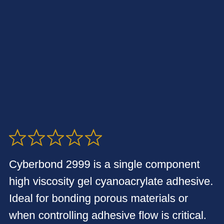[Figure (other): Five empty gold star rating icons (no fill) arranged horizontally]
Cyberbond 2999 is a single component high viscosity gel cyanoacrylate adhesive. Ideal for bonding porous materials or when controlling adhesive flow is critical. Offers maximum gap filling and repositioning time. Non Drip Gel Viscosity: 8000 – 300000 mPa.s (thixotropic)